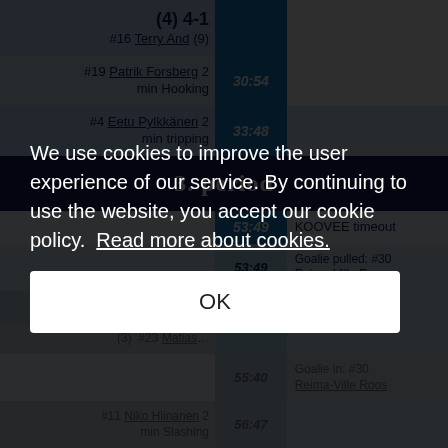| Home | Time | Away |
| --- | --- | --- |
| (4) 4-1 #16 Terry And (9) |  |  |
| #19 Patrik Forsberg 2 min Hooking | 30:54 |  |
| #4 Eetu Pylkkänen 2 min tripping | 33:48 |  |
| 3. period |  |  |
|  | 53:49 | KOOVEE timeout |
|  | 53:49 | Goalie pulled: #30 Reima-Ville Roos |
| #8 Tommi Kiskanen ... | 53:47 |  |
| (3) #23 Matias ... |  |  |
|  | 55:40 | Goalie in: #30 Reima-Ville Roos |
| #11 Niko Hiinanen 2 min Slashing | 56:47 |  |
|  | 57:35 | #9 Joona Veikkola 2 |
We use cookies to improve the user experience of our service. By continuing to use the website, you accept our cookie policy. Read more about cookies.
OK